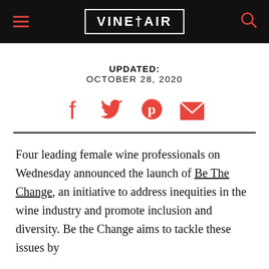VINEPAIR
UPDATED: OCTOBER 28, 2020
[Figure (infographic): Social share icons: Facebook, Twitter, Pinterest, Email in red/coral color]
Four leading female wine professionals on Wednesday announced the launch of Be The Change, an initiative to address inequities in the wine industry and promote inclusion and diversity. Be the Change aims to tackle these issues by